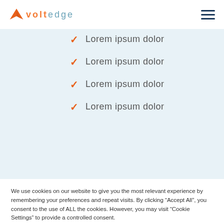voltedge
Lorem ipsum dolor
Lorem ipsum dolor
Lorem ipsum dolor
Lorem ipsum dolor
We use cookies on our website to give you the most relevant experience by remembering your preferences and repeat visits. By clicking “Accept All”, you consent to the use of ALL the cookies. However, you may visit “Cookie Settings” to provide a controlled consent.